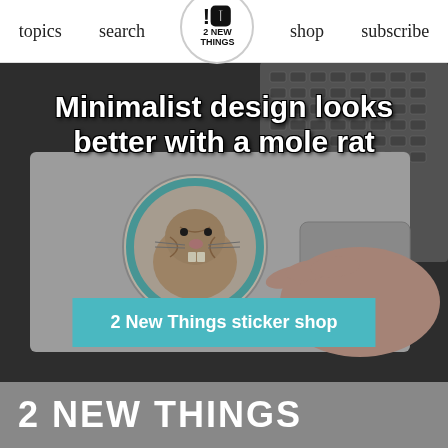topics   search   ! 2 NEW THINGS   shop   subscribe
[Figure (photo): Hero image of a laptop with a mole rat sticker being held by a hand, dark background. Overlaid with bold white text and a teal CTA button.]
Minimalist design looks better with a mole rat
2 New Things sticker shop
2 NEW THINGS